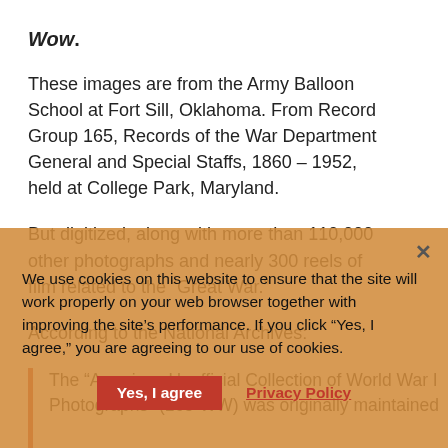Wow.
These images are from the Army Balloon School at Fort Sill, Oklahoma. From Record Group 165, Records of the War Department General and Special Staffs, 1860 – 1952, held at College Park, Maryland.
But digitized, along with more than 110,000 other photographs and nearly 300 reels of film related to the “Great War.”
According to the National Archives:
The “American Unofficial Collection of World War I Photographs” (165-WW) was originally maintained by the Committee on Public Information (CPI) … Division. WW, the CPI collected with improper force … order to sway public opinion in favor of the war. Following the war, the CPI disbanded and the War Department’s Historical Branch obtained custody
We use cookies on this website to ensure that the site will work properly on your web browser together with improving the site’s performance. If you click “Yes, I agree,” you are agreeing to our use of cookies.